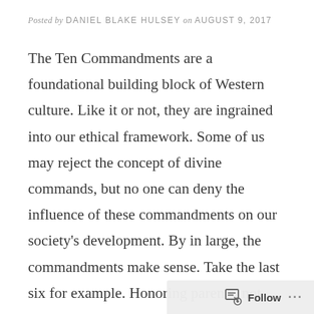Posted by DANIEL BLAKE HULSEY on AUGUST 9, 2017
The Ten Commandments are a foundational building block of Western culture. Like it or not, they are ingrained into our ethical framework. Some of us may reject the concept of divine commands, but no one can deny the influence of these commandments on our society's development. By in large, the commandments make sense. Take the last six for example. Honoring parents, not murdering, not committing adultery, not stealing, not lying, and not coveting our neighbor's possessions are all reasonable tenets for establishing a stable society. The first three also make sense if God is the sovereign creator giving the law. Place no other